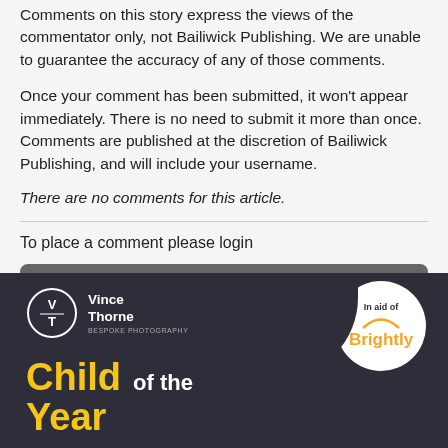Comments on this story express the views of the commentator only, not Bailiwick Publishing. We are unable to guarantee the accuracy of any of those comments.
Once your comment has been submitted, it won't appear immediately. There is no need to submit it more than once. Comments are published at the discretion of Bailiwick Publishing, and will include your username.
There are no comments for this article.
To place a comment please login
Login »
[Figure (illustration): Advertisement for Vince Thorne Bespoke Photography - Child of the Year competition, in aid of Brightly. Dark background with yellow and white text, Vince Thorne logo (VT in circle) on left, Brightly logo in white circle on right, large text 'Child of the Year' in yellow and white.]